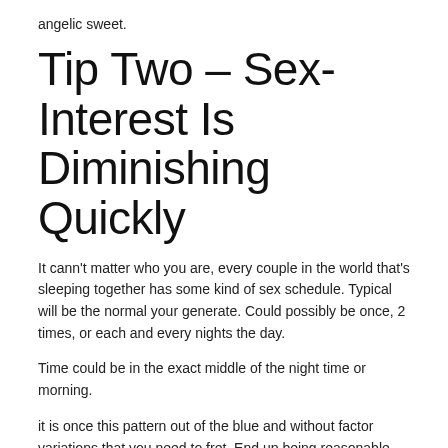angelic sweet.
Tip Two – Sex-Interest Is Diminishing Quickly
It cann't matter who you are, every couple in the world that's sleeping together has some kind of sex schedule. Typical will be the normal your generate. Could possibly be once, 2 times, or each and every nights the day.
Time could be in the exact middle of the night time or morning.
it is once this pattern out of the blue and without factor variations that you need to fret. End up being reasonable right here as if she's overworked at her task or is dealing